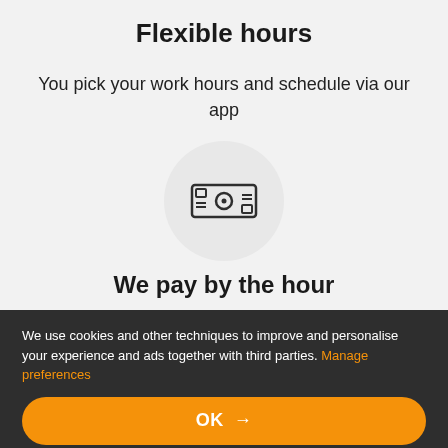Flexible hours
You pick your work hours and schedule via our app
[Figure (illustration): A cash/money icon (banknote with a circle in the center) inside a light grey circle background]
We pay by the hour
We use cookies and other techniques to improve and personalise your experience and ads together with third parties. Manage preferences
OK →